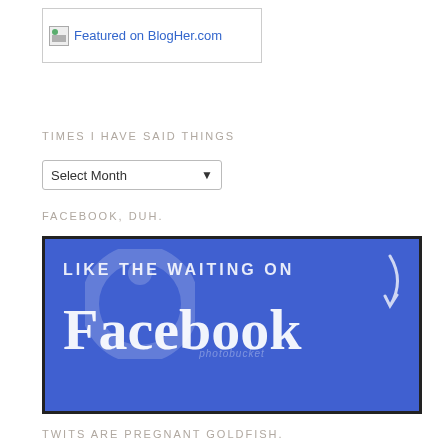[Figure (screenshot): Broken image placeholder link reading 'Featured on BlogHer.com' in blue hyperlink text, with a broken image icon on the left, inside a thin bordered box]
TIMES I HAVE SAID THINGS
[Figure (screenshot): A dropdown widget labeled 'Select Month' with a chevron arrow on the right side]
FACEBOOK, DUH.
[Figure (screenshot): Blue Facebook banner with text 'LIKE THE WAITING ON' in bold uppercase and 'Facebook' in large serif font, with a curved arrow graphic on the right, and a photobucket watermark overlay]
TWITS ARE PREGNANT GOLDFISH.
[Figure (screenshot): Light blue/cyan Twitter banner, partially visible at bottom of page]